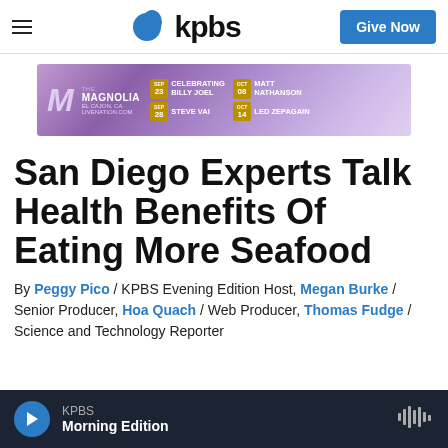KPBS — Give Now
[Figure (other): KPBS logo with blue teardrop icon and text 'kpbs']
[Figure (infographic): Advertisement banner for The Magnolia, El Cajon CA, LiveNation.com, featuring events: Sep 23 Celebrating Billy Joel, Sep 28 Steve Vai, Oct 08 Matt Nathanson, Oct 14 Led Zepagain]
San Diego Experts Talk Health Benefits Of Eating More Seafood
By Peggy Pico / KPBS Evening Edition Host, Megan Burke / Senior Producer, Hoa Quach / Web Producer, Thomas Fudge / Science and Technology Reporter
KPBS Morning Edition (audio player)